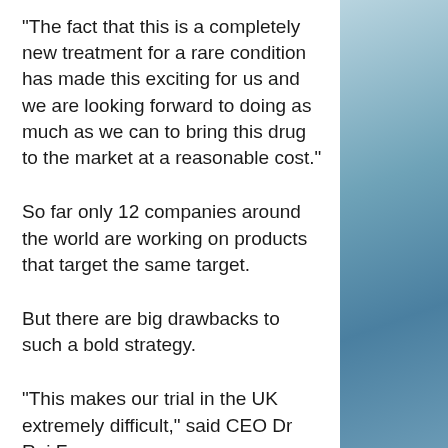"The fact that this is a completely new treatment for a rare condition has made this exciting for us and we are looking forward to doing as much as we can to bring this drug to the market at a reasonable cost."
So far only 12 companies around the world are working on products that target the same target.
But there are big drawbacks to such a bold strategy.
"This makes our trial in the UK extremely difficult," said CEO Dr Rui Fong.
"One problem is that there are very few companies selling testosterone pills in the UK and there's quite a lot of debate about whether to allow this to be sold here since there's a risk that there will always be a legal